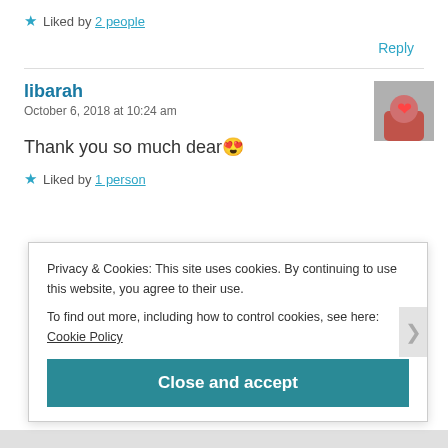★ Liked by 2 people
Reply
libarah
October 6, 2018 at 10:24 am
Thank you so much dear 😍
★ Liked by 1 person
Privacy & Cookies: This site uses cookies. By continuing to use this website, you agree to their use.
To find out more, including how to control cookies, see here: Cookie Policy
Close and accept